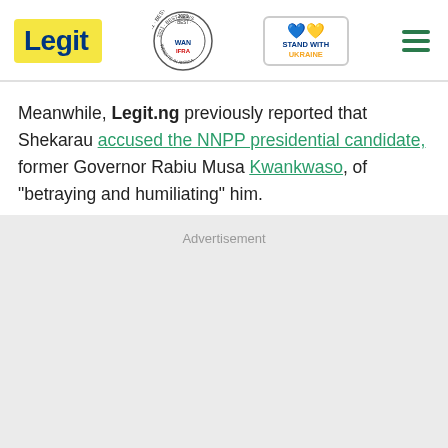Legit | WAN-IFRA 2021 Best News Website in Africa | Stand with Ukraine
Meanwhile, Legit.ng previously reported that Shekarau accused the NNPP presidential candidate, former Governor Rabiu Musa Kwankwaso, of “betraying and humiliating” him.
Advertisement